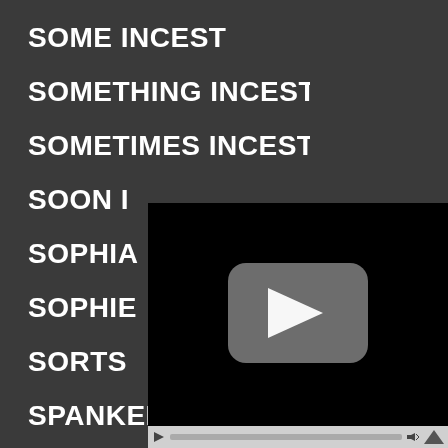SOME INCEST
SOMETHING INCEST
SOMETIMES INCEST
SOON INCEST
SOPHIA
SOPHIE
SORTS
SPANKED
[Figure (screenshot): Video player with black screen and YouTube-style play button, with playback controls bar at bottom]